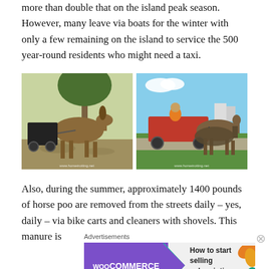more than double that on the island peak season. However, many leave via boats for the winter with only a few remaining on the island to service the 500 year-round residents who might need a taxi.
[Figure (photo): Two side-by-side photos of horse-drawn carriages. Left: a single brown horse pulling a carriage on a tree-lined road. Right: two brown horses pulling a red wagon/cart with a driver in orange, on a paved path with grass.]
Also, during the summer, approximately 1400 pounds of horse poo are removed from the streets daily – yes, daily – via bike carts and cleaners with shovels. This manure is
Advertisements
[Figure (other): WooCommerce advertisement banner: purple background with WooCommerce logo and arrow, text 'How to start selling subscriptions online', orange and teal leaf decorations on right side.]